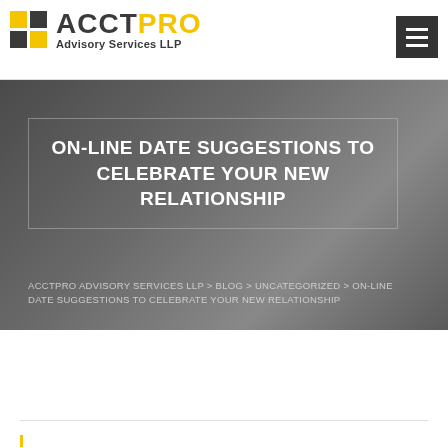ACCTPRO Advisory Services LLP
ON-LINE DATE SUGGESTIONS TO CELEBRATE YOUR NEW RELATIONSHIP
ACCTPRO ADVISORY SERVICES LLP > BLOG > UNCATEGORIZED > ON-LINE DATE SUGGESTIONS TO CELEBRATE YOUR NEW RELATIONSHIP